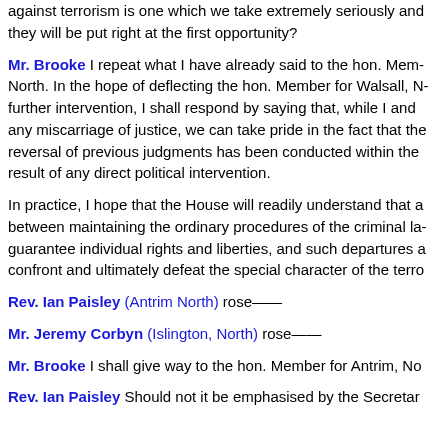against terrorism is one which we take extremely seriously and they will be put right at the first opportunity?
Mr. Brooke I repeat what I have already said to the hon. Member for Walsall, North. In the hope of deflecting the hon. Member for Walsall, North from further intervention, I shall respond by saying that, while I and any miscarriage of justice, we can take pride in the fact that the reversal of previous judgments has been conducted within the result of any direct political intervention.
In practice, I hope that the House will readily understand that a between maintaining the ordinary procedures of the criminal law guarantee individual rights and liberties, and such departures a confront and ultimately defeat the special character of the terrorism
Rev. Ian Paisley (Antrim North) rose——
Mr. Jeremy Corbyn (Islington, North) rose——
Mr. Brooke I shall give way to the hon. Member for Antrim, North
Rev. Ian Paisley Should not it be emphasised by the Secretary